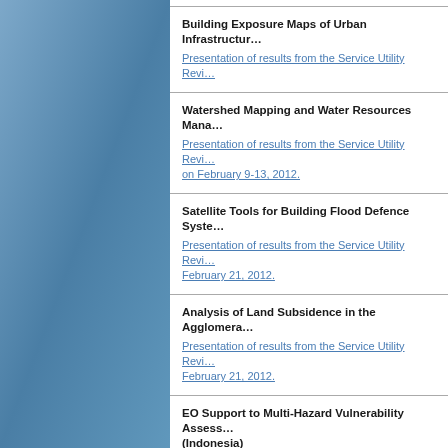Building Exposure Maps of Urban Infrastructure
Presentation of results from the Service Utility Review on February 9-13, 2012.
Watershed Mapping and Water Resources Management
Presentation of results from the Service Utility Review on February 9-13, 2012.
Satellite Tools for Building Flood Defence Systems
Presentation of results from the Service Utility Review on February 21, 2012.
Analysis of Land Subsidence in the Agglomeration
Presentation of results from the Service Utility Review on February 21, 2012.
EO Support to Multi-Hazard Vulnerability Assessment (Indonesia)
Presentation of results from the Service Utility Review on February 22, 2012 can be viewed for Ho Chi Minh ...
Monitoring of Coastal Vulnerability and Coastal Change in Gambia, Senegal, Benin, and Nigeria)